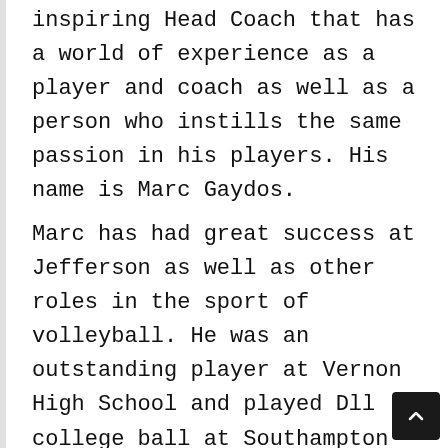inspiring Head Coach that has a world of experience as a player and coach as well as a person who instills the same passion in his players. His name is Marc Gaydos.
Marc has had great success at Jefferson as well as other roles in the sport of volleyball. He was an outstanding player at Vernon High School and played Dll college ball at Southampton where he lead the country in digs his senior year. He has handled both girls and boys programs during his career and even spent a few years at the junior college level